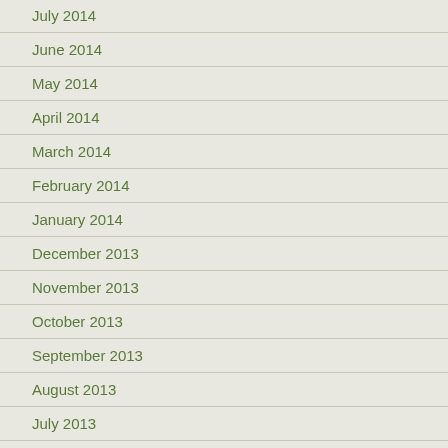July 2014
June 2014
May 2014
April 2014
March 2014
February 2014
January 2014
December 2013
November 2013
October 2013
September 2013
August 2013
July 2013
June 2013
May 2013